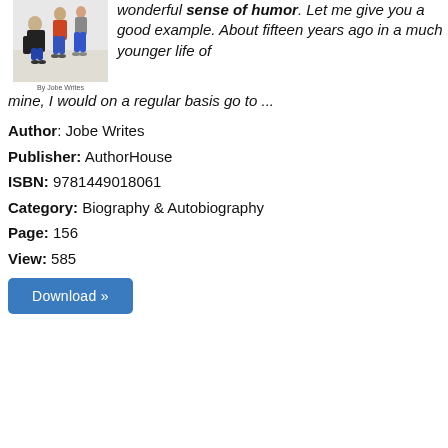[Figure (illustration): Book cover image showing people, with byline 'By Jobe Writes']
wonderful sense of humor. Let me give you a good example. About fifteen years ago in a much younger life of mine, I would on a regular basis go to ...
Author: Jobe Writes
Publisher: AuthorHouse
ISBN: 9781449018061
Category: Biography & Autobiography
Page: 156
View: 585
Download »